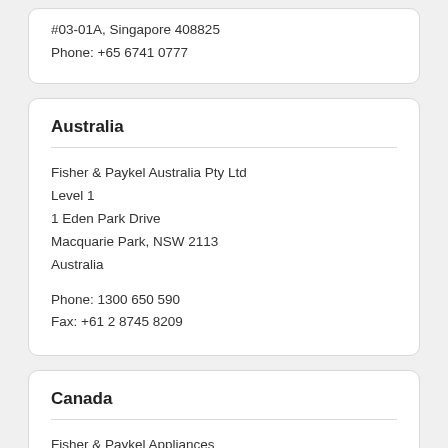#03-01A, Singapore 408825
Phone: +65 6741 0777
Australia
Fisher & Paykel Australia Pty Ltd
Level 1
1 Eden Park Drive
Macquarie Park, NSW 2113
Australia

Phone: 1300 650 590
Fax: +61 2 8745 8209
Canada
Fisher & Paykel Appliances